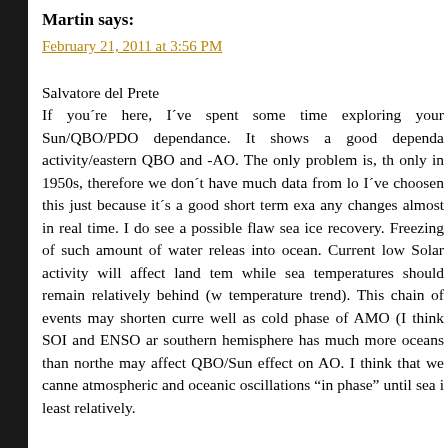Martin says:
February 21, 2011 at 3:56 PM
Salvatore del Prete
If you´re here, I´ve spent some time exploring your Sun/QBO/PDO dependance. It shows a good dependa activity/eastern QBO and -AO. The only problem is, th only in 1950s, therefore we don´t have much data from lo I´ve choosen this just because it´s a good short term exa any changes almost in real time. I do see a possible flaw sea ice recovery. Freezing of such amount of water releas into ocean. Current low Solar activity will affect land tem while sea temperatures should remain relatively behind (w temperature trend). This chain of events may shorten curre well as cold phase of AMO (I think SOI and ENSO ar southern hemisphere has much more oceans than northe may affect QBO/Sun effect on AO. I think that we canne atmospheric and oceanic oscillations "in phase" until sea i least relatively.